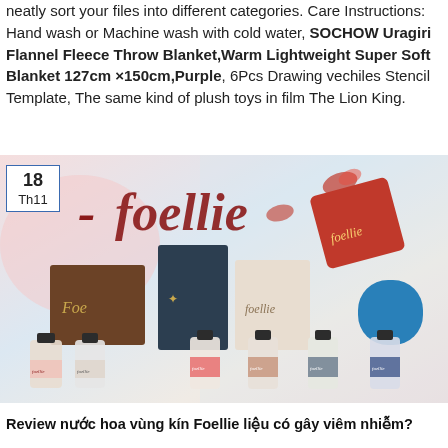neatly sort your files into different categories. Care Instructions: Hand wash or Machine wash with cold water, SOCHOW Uragiri Flannel Fleece Throw Blanket,Warm Lightweight Super Soft Blanket 127cm ×150cm,Purple, 6Pcs Drawing vechiles Stencil Template, The same kind of plush toys in film The Lion King.
[Figure (photo): Foellie brand perfume product photo showing multiple small perfume bottles with black caps and branded boxes (brown, dark navy, beige, red cube) on a light pink/blue background. Date badge showing '18 Th11' in top left corner.]
Review nước hoa vùng kín Foellie liệu có gây viêm nhiễm?